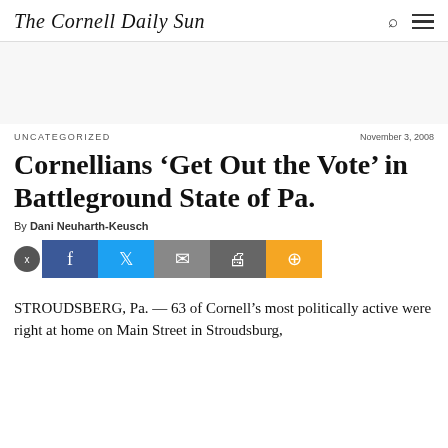The Cornell Daily Sun
UNCATEGORIZED
November 3, 2008
Cornellians ‘Get Out the Vote’ in Battleground State of Pa.
By Dani Neuharth-Keusch
STROUDSBERG, Pa. — 63 of Cornell’s most politically active were right at home on Main Street in Stroudsburg,